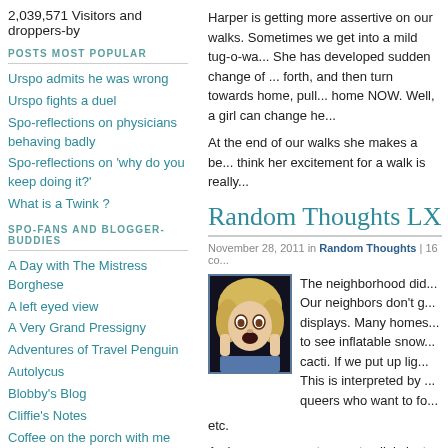2,039,571 Visitors and droppers-by
POSTS MOST POPULAR
Urspo admits he was wrong
Urspo fights a duel
Spo-reflections on physicians behaving badly
Spo-reflections on 'why do you keep doing it?'
What is a Twink ?
SPO-FANS AND BLOGGER-BUDDIES
A Day with The Mistress Borghese
A left eyed view
A Very Grand Pressigny
Adventures of Travel Penguin
Autolycus
Blobby's Blog
Cliffie's Notes
Coffee on the porch with me
Corporate Slave
Culinary Adventures with Lori
Dancing With Frogs
Harper is getting more assertive on our walks. Sometimes we get into a mild tug-o-wa... She has developed sudden change of ... forth, and then turn towards home, pull... home NOW.  Well, a girl can change he...
At the end of our walks she makes a be... think her excitement for a walk is really...
Random Thoughts LX...
November 28, 2011 in Random Thoughts | 16 co...
[Figure (photo): A person with wild blonde hair making a dramatic scared or shocked expression, clutching their face, wearing a blue top. Dark background.]
The neighborhood did... Our neighbors don't g... displays. Many homes... to see inflatable snow... cacti.   If we put up lig... This is interpreted by ... queers who want to fo... etc.
An insurance agent came to clinic last ... documentation. I got the review today -... standard of 85%.  This makes me the ...